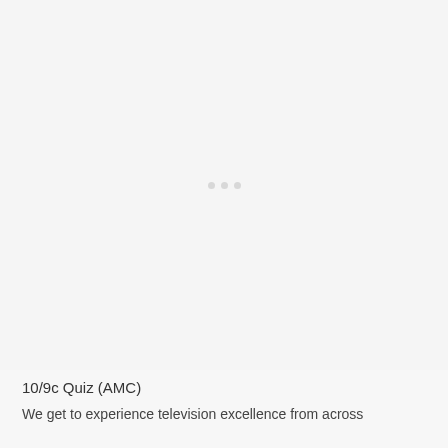[Figure (other): Loading placeholder image area with three small grey dots indicating content loading]
10/9c Quiz (AMC)
We get to experience television excellence from across